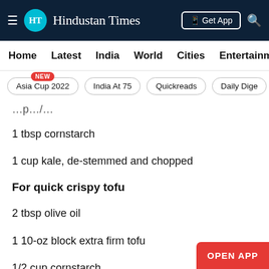HT Hindustan Times — Get App
Home | Latest | India | World | Cities | Entertainment
Asia Cup 2022 (NEW) | India At 75 | Quickreads | Daily Dige
1 tbsp cornstarch
1 cup kale, de-stemmed and chopped
For quick crispy tofu
2 tbsp olive oil
1 10-oz block extra firm tofu
1/2 cup cornstarch
1 tbsp tamari
1 tsp maple syrup